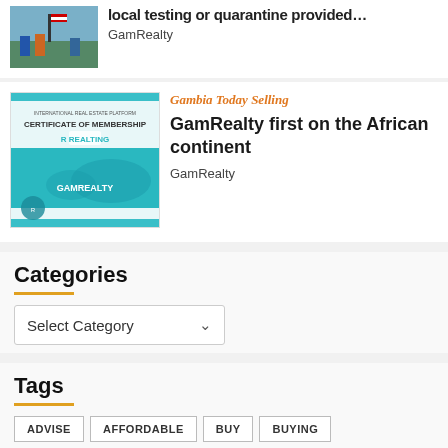local testing or quarantine provided…
GamRealty
[Figure (photo): Certificate of membership from Realting for GamRealty]
Gambia Today Selling
GamRealty first on the African continent
GamRealty
Categories
Select Category
Tags
ADVISE
AFFORDABLE
BUY
BUYING